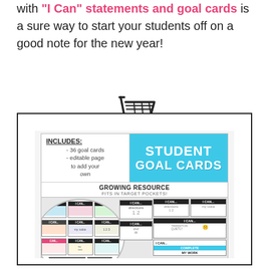with "I Can" statements and goal cards is a sure way to start your students off on a good note for the new year!
[Figure (illustration): Shopping cart icon illustration in black and white]
[Figure (illustration): Student Goal Cards product cover image showing a circular fan of I CAN cards with individual card examples on the right side. Includes text: INCLUDES: 36 goal cards, editable page to add your own. STUDENT GOAL CARDS. GROWING RESOURCE FITS IN TARGET POCKETS! I CAN... cards with directions, my voice, TRANSITION QUIETLY, COMPLETE MY WORK themes.]